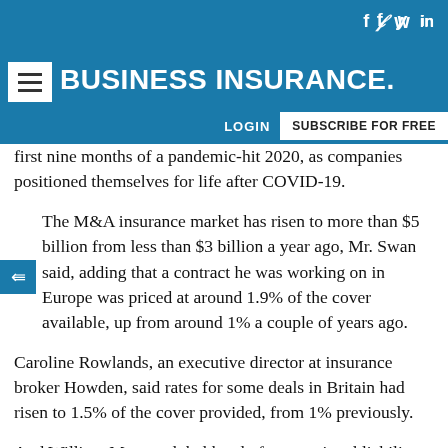BUSINESS INSURANCE
first nine months of a pandemic-hit 2020, as companies positioned themselves for life after COVID-19.
The M&A insurance market has risen to more than $5 billion from less than $3 billion a year ago, Mr. Swan said, adding that a contract he was working on in Europe was priced at around 1.9% of the cover available, up from around 1% a couple of years ago.
Caroline Rowlands, an executive director at insurance broker Howden, said rates for some deals in Britain had risen to 1.5% of the cover provided, from 1% previously.
And William Monat, global head of transactional liability at insurer Mosaic, said rates for some U.S. deals had risen to around 4% of cover from below 3% previously.
Where M&A insurance had previously been bought